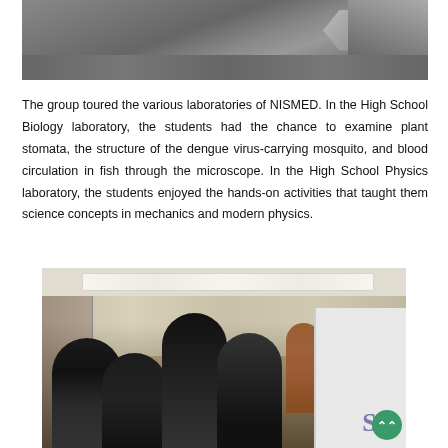[Figure (photo): Top portion of a photo showing what appears to be a laboratory setting with metallic equipment, partially cropped at the top of the page.]
The group toured the various laboratories of NISMED. In the High School Biology laboratory, the students had the chance to examine plant stomata, the structure of the dengue virus-carrying mosquito, and blood circulation in fish through the microscope. In the High School Physics laboratory, the students enjoyed the hands-on activities that taught them science concepts in mechanics and modern physics.
[Figure (photo): Students gathered around a table in what appears to be a laboratory or classroom setting at NISMED. Several students are leaning over to look at something on the table. A woman in a brown/orange top stands in the background. Partial text 'ST' visible on a sign in the lower right. A green circular button/overlay appears in the bottom right corner.]